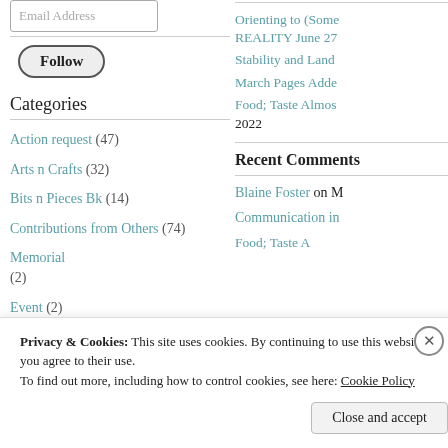Email Address
Follow
Categories
Action request (47)
Arts n Crafts (32)
Bits n Pieces Bk (14)
Contributions from Others (74)
Memorial (2)
Event (2)
Orienting to (Some REALITY June 27
Stability and Land
March Pages Adde
Food; Taste Almos 2022
Recent Comments
Blaine Foster on M
Communication in
Food; Taste A
Privacy & Cookies: This site uses cookies. By continuing to use this website, you agree to their use.
To find out more, including how to control cookies, see here: Cookie Policy
Close and accept